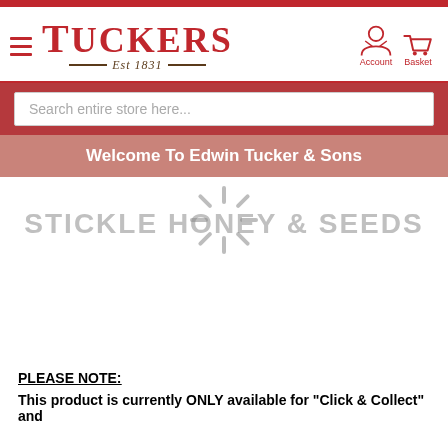[Figure (logo): Tuckers Est 1831 logo with hamburger menu icon]
[Figure (screenshot): Account and Basket icons in top right header]
Search entire store here...
Welcome To Edwin Tucker & Sons
STICKLE HONEY & SEEDS
PLEASE NOTE:
This product is currently ONLY available for "Click & Collect" and